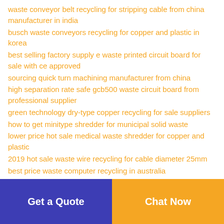waste conveyor belt recycling for stripping cable from china manufacturer in india
busch waste conveyors recycling for copper and plastic in korea
best selling factory supply e waste printed circuit board for sale with ce approved
sourcing quick turn machining manufacturer from china
high separation rate safe gcb500 waste circuit board from professional supplier
green technology dry-type copper recycling for sale suppliers
how to get minitype shredder for municipal solid waste
lower price hot sale medical waste shredder for copper and plastic
2019 hot sale waste wire recycling for cable diameter 25mm
best price waste computer recycling in australia
Get a Quote | Chat Now